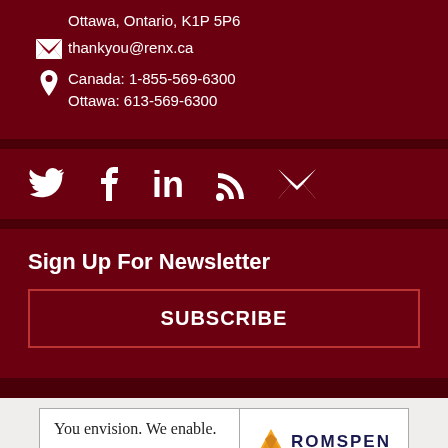Ottawa, Ontario, K1P 5P6
thankyou@renx.ca
Canada: 1-855-569-6300
Ottawa: 613-569-6300
[Figure (infographic): Social media icons: Twitter, Facebook, LinkedIn, RSS feed, Email]
Sign Up For Newsletter
SUBSCRIBE
[Figure (infographic): Romspen Investment Corporation advertisement: 'You envision. We enable.' Commercial Lender License #10172]